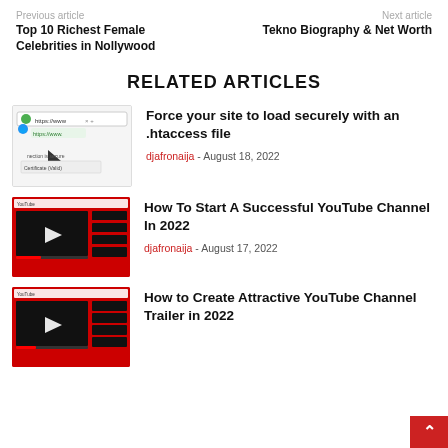Previous article | Next article
Top 10 Richest Female Celebrities in Nollywood
Tekno Biography & Net Worth
RELATED ARTICLES
[Figure (screenshot): Website URL bar showing https://www connection is secure]
Force your site to load securely with an .htaccess file
djafronaija - August 18, 2022
[Figure (screenshot): YouTube channel interface screenshot with red background, dark video player and video thumbnails]
How To Start A Successful YouTube Channel In 2022
djafronaija - August 17, 2022
[Figure (screenshot): YouTube channel trailer screenshot with red background]
How to Create Attractive YouTube Channel Trailer in 2022